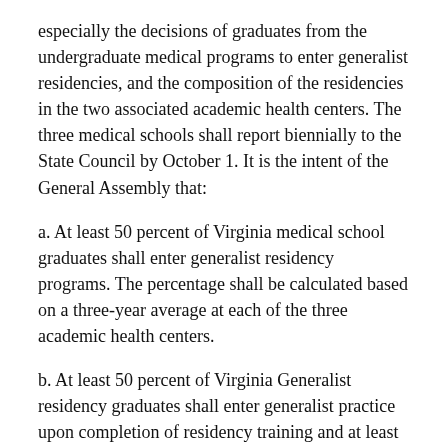especially the decisions of graduates from the undergraduate medical programs to enter generalist residencies, and the composition of the residencies in the two associated academic health centers. The three medical schools shall report biennially to the State Council by October 1. It is the intent of the General Assembly that:
a. At least 50 percent of Virginia medical school graduates shall enter generalist residency programs. The percentage shall be calculated based on a three-year average at each of the three academic health centers.
b. At least 50 percent of Virginia Generalist residency graduates shall enter generalist practice upon completion of residency training and at least 50 percent of those graduates shall practice in Virginia. The percentage shall be calculated based on a three-